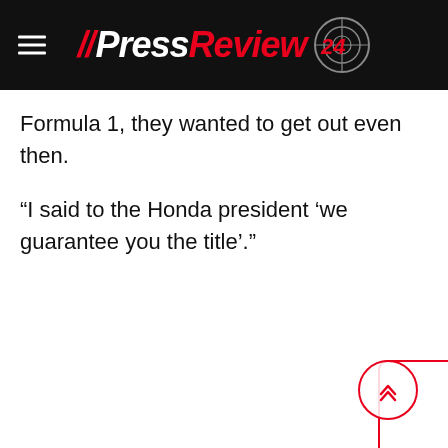//PressReview 24
Formula 1, they wanted to get out even then.
“I said to the Honda president ‘we guarantee you the title’.”